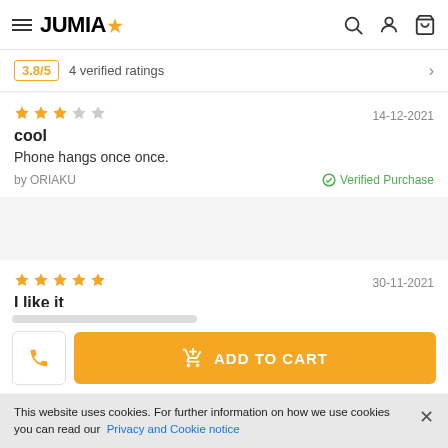JUMIA
3.8/5  4 verified ratings
cool
Phone hangs once once.
by ORIAKU  Verified Purchase  14-12-2021
I like it
Nice phone
by Nzube  Verified Purchase  30-11-2021
ADD TO CART
This website uses cookies. For further information on how we use cookies you can read our Privacy and Cookie notice